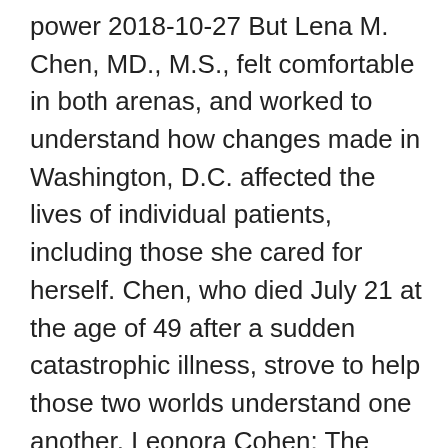power 2018-10-27 But Lena M. Chen, MD., M.S., felt comfortable in both arenas, and worked to understand how changes made in Washington, D.C. affected the lives of individual patients, including those she cared for herself. Chen, who died July 21 at the age of 49 after a sudden catastrophic illness, strove to help those two worlds understand one another. Leonora Cohen: The story of the Leeds Suffragette One hundred years ago women were given the right to vote in the UK. Among the Suffragettes who fought for that right was Leeds' own Leonora Cohen. View the profiles of people named Chen Lena. Join Facebook to connect with Chen Lena and others you may know. Facebook gives people the power to share Writer, visual artist and activist Lena Chen (previously Elle Peril) (b.